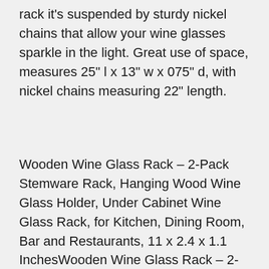rack it's suspended by sturdy nickel chains that allow your wine glasses sparkle in the light. Great use of space, measures 25" l x 13" w x 075" d, with nickel chains measuring 22" length.
Wooden Wine Glass Rack – 2-Pack Stemware Rack, Hanging Wood Wine Glass Holder, Under Cabinet Wine Glass Rack, for Kitchen, Dining Room, Bar and Restaurants, 11 x 2.4 x 1.1 InchesWooden Wine Glass Rack – 2-Pack Stemware Rack, Hanging Wood Wine Glass Holder, Under Cabinet Wine Glass Rack, for Kitchen, Dining Room, Bar and Restaurants, 11 x 2.4 x 1.1 Inches - Dimensions 11 x 24 x 11 inches. Wooden